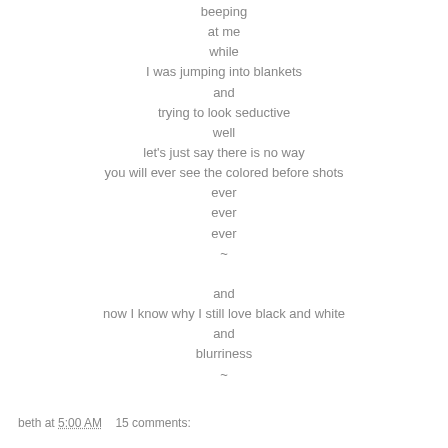beeping
at me
while
I was jumping into blankets
and
trying to look seductive
well
let's just say there is no way
you will ever see the colored before shots
ever
ever
ever
~
and
now I know why I still love black and white
and
blurriness
~
beth at 5:00 AM    15 comments: